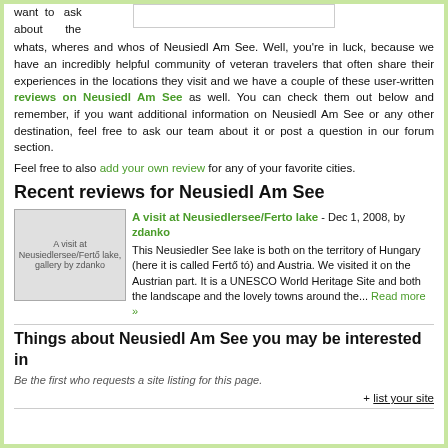want to ask about the whats, wheres and whos of Neusiedl Am See. Well, you're in luck, because we have an incredibly helpful community of veteran travelers that often share their experiences in the locations they visit and we have a couple of these user-written reviews on Neusiedl Am See as well. You can check them out below and remember, if you want additional information on Neusiedl Am See or any other destination, feel free to ask our team about it or post a question in our forum section.
Feel free to also add your own review for any of your favorite cities.
Recent reviews for Neusiedl Am See
[Figure (photo): Thumbnail image of a visit at Neusiedlersee/Ferto lake, gallery by zdanko]
A visit at Neusiedlersee/Ferto lake - Dec 1, 2008, by zdanko. This Neusiedler See lake is both on the territory of Hungary (here it is called Fertő tó) and Austria. We visited it on the Austrian part. It is a UNESCO World Heritage Site and both the landscape and the lovely towns around the... Read more »
Things about Neusiedl Am See you may be interested in
Be the first who requests a site listing for this page.
+ list your site